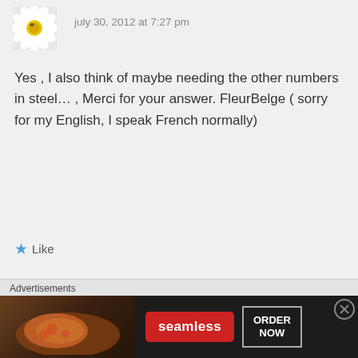[Figure (photo): Daisy flower avatar image, top portion cropped]
july 30, 2012 at 7:27 pm
Yes , I also think of maybe needing the other numbers in steel… , Merci for your answer. FleurBelge ( sorry for my English, I speak French normally)
Like
[Figure (illustration): Tile/mosaic pattern avatar for user Sue]
Sue
july 30, 2012 at 7:33 pm
Advertisements
[Figure (screenshot): Seamless food delivery advertisement banner with pizza image, Seamless logo in red, and ORDER NOW button]